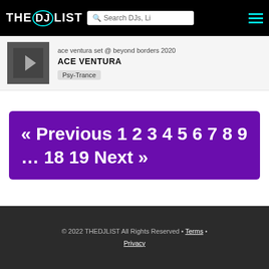THE DJ LIST | Search DJs, Li
ace ventura set @ beyond borders 2020
ACE VENTURA
Psy-Trance
« Previous 1 2 3 4 5 6 7 8 9 … 18 19 Next »
© 2022 THEDJLIST All Rights Reserved • Terms • Privacy